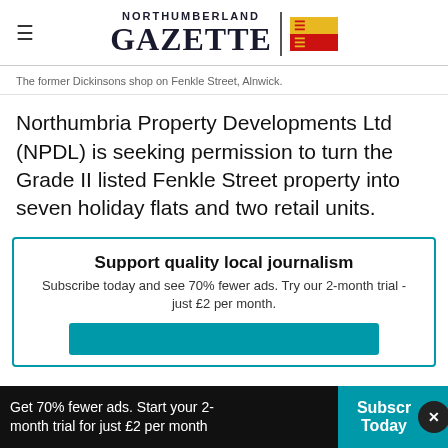NORTHUMBERLAND GAZETTE
The former Dickinsons shop on Fenkle Street, Alnwick.
Northumbria Property Developments Ltd (NPDL) is seeking permission to turn the Grade II listed Fenkle Street property into seven holiday flats and two retail units.
Support quality local journalism
Subscribe today and see 70% fewer ads. Try our 2-month trial - just £2 per month.
Get 70% fewer ads. Start your 2-month trial for just £2 per month
Subscr Today